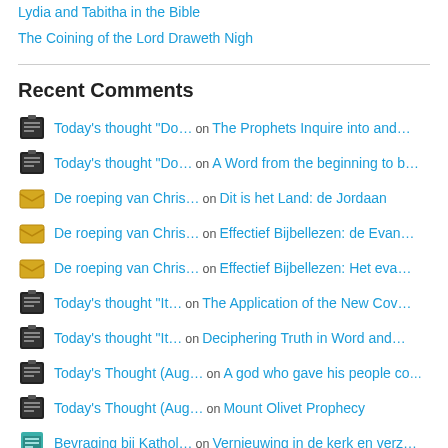Lydia and Tabitha in the Bible
The Coining of the Lord Draweth Nigh
Recent Comments
Today's thought “Do… on The Prophets Inquire into and…
Today's thought “Do… on A Word from the beginning to b…
De roeping van Chris… on Dit is het Land: de Jordaan
De roeping van Chris… on Effectief Bijbellezen: de Evan…
De roeping van Chris… on Effectief Bijbellezen: Het eva…
Today’s thought “It… on The Application of the New Cov…
Today’s thought “It… on Deciphering Truth in Word and…
Today’s Thought (Aug… on A god who gave his people comm…
Today’s Thought (Aug… on Mount Olivet Prophecy
Bevraging bij Kathol… on Vernieuwing in de kerk en verz…
Bevraging bij Kathol… on Bisschoppensynode omtrent het…
100 berichten en vij… on De Messiaanse beweging onder d…
100 berichten en vij… on De Messiaanse beweging onder d…